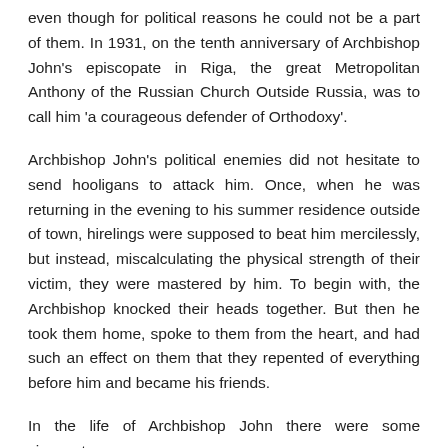even though for political reasons he could not be a part of them. In 1931, on the tenth anniversary of Archbishop John's episcopate in Riga, the great Metropolitan Anthony of the Russian Church Outside Russia, was to call him 'a courageous defender of Orthodoxy'.
Archbishop John's political enemies did not hesitate to send hooligans to attack him. Once, when he was returning in the evening to his summer residence outside of town, hirelings were supposed to beat him mercilessly, but instead, miscalculating the physical strength of their victim, they were mastered by him. To begin with, the Archbishop knocked their heads together. But then he took them home, spoke to them from the heart, and had such an effect on them that they repented of everything before him and became his friends.
In the life of Archbishop John there were some circumstances